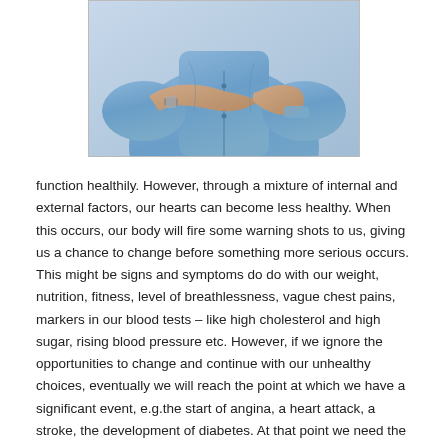[Figure (photo): A person in a light blue button-up shirt with hands crossed over their chest, suggesting chest pain or heart issues. Only the torso and hands are visible.]
function healthily. However, through a mixture of internal and external factors, our hearts can become less healthy. When this occurs, our body will fire some warning shots to us, giving us a chance to change before something more serious occurs. This might be signs and symptoms do do with our weight, nutrition, fitness, level of breathlessness, vague chest pains, markers in our blood tests – like high cholesterol and high sugar, rising blood pressure etc. However, if we ignore the opportunities to change and continue with our unhealthy choices, eventually we will reach the point at which we have a significant event, e.g.the start of angina, a heart attack, a stroke, the development of diabetes. At that point we need the help of someone else – we can no longer do it on our own. Of course, we still have choices and can reject the help on offer, but if we do, we risk our own demise and ultimate death.